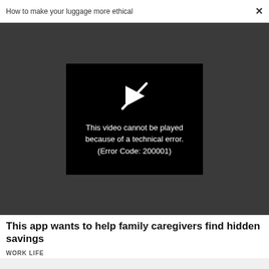How to make your luggage more ethical  ×
[Figure (screenshot): Video player showing error: This video cannot be played because of a technical error. (Error Code: 200001). A play button icon with a diagonal slash is shown above the text.]
This app wants to help family caregivers find hidden savings
WORK LIFE
Forget doing more with less. This is how to do better with fewer after a layoff